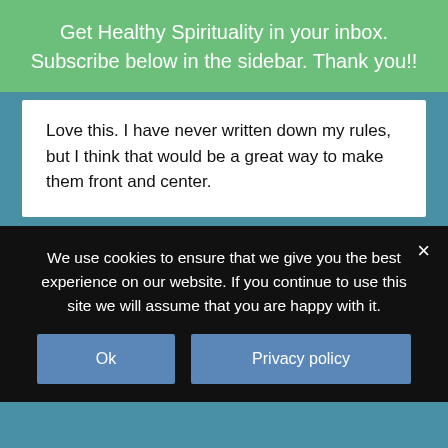Get Healthy Spirituality in your inbox. Subscribe below in the sidebar. Thank you!!
Love this. I have never written down my rules, but I think that would be a great way to make them front and center.
Melinda says
May 25, 2019 at 2:27 pm
We use cookies to ensure that we give you the best experience on our website. If you continue to use this site we will assume that you are happy with it.